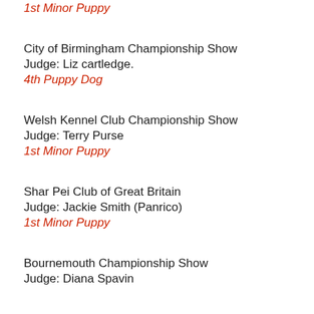1st Minor Puppy
City of Birmingham Championship Show
Judge: Liz cartledge.
4th Puppy Dog
Welsh Kennel Club Championship Show
Judge: Terry Purse
1st Minor Puppy
Shar Pei Club of Great Britain
Judge: Jackie Smith (Panrico)
1st Minor Puppy
Bournemouth Championship Show
Judge: Diana Spavin